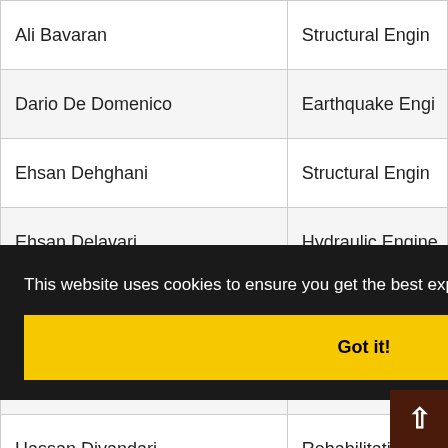| Name | Specialty |
| --- | --- |
| Ali Bavaran | Structural Engin... |
| Dario De Domenico | Earthquake Engi... |
| Ehsan Dehghani | Structural Engin... |
| Ehsan Delavari | Hydraulic Engine... |
| Ali Delnavaz | Structural Engin... |
| Luigi Di Sarno | Earthquake Engi... |
| Hassan Divandari | Rehabilitation in... |
| Davood Domiri Ganji | Water Resources... |
|  | ...engthening of... |
|  | ...uctural Engin... |
|  | ...otechnical Eng... |
|  | ...draulic En... |
| Mahdi Eghbali | Structural E... |
This website uses cookies to ensure you get the best experience on our website.
Got it!